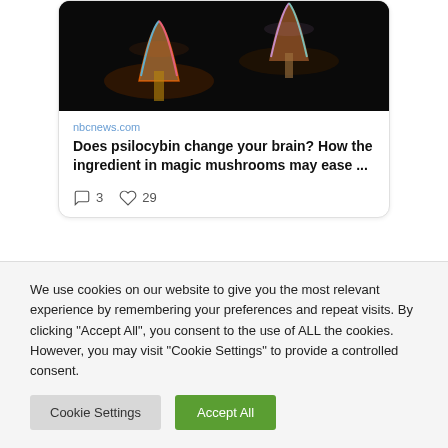[Figure (photo): Colorful glowing mushrooms on dark background]
nbcnews.com
Does psilocybin change your brain? How the ingredient in magic mushrooms may ease ...
3   29
We use cookies on our website to give you the most relevant experience by remembering your preferences and repeat visits. By clicking “Accept All”, you consent to the use of ALL the cookies. However, you may visit "Cookie Settings" to provide a controlled consent.
Cookie Settings   Accept All